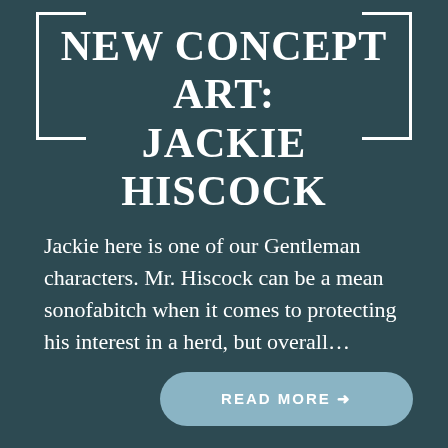NEW CONCEPT ART: JACKIE HISCOCK
Jackie here is one of our Gentleman characters. Mr. Hiscock can be a mean sonofabitch when it comes to protecting his interest in a herd, but overall...
READ MORE →